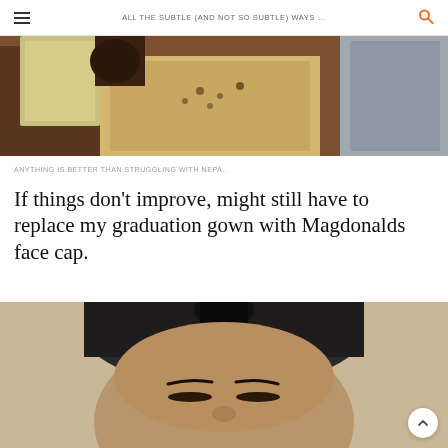ALL THE SUBTLE (AND NOT SO SUBTLE) WAYS ...
[Figure (photo): Close-up photo of fabric or cloth items, yellowish material with dark spots, wooden background visible]
ANYTHING IS BETTER THAN STRUGGLING WITH NEPA..
If things don't improve, might still have to replace my graduation gown with Magdonalds face cap.
[Figure (photo): Close-up photo of a person's face wearing a dark head wrap/turban, eyes closed, light background]